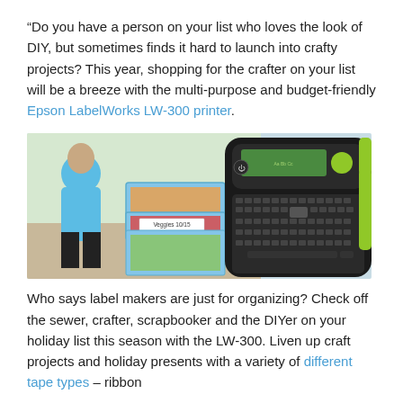“Do you have a person on your list who loves the look of DIY, but sometimes finds it hard to launch into crafty projects? This year, shopping for the crafter on your list will be a breeze with the multi-purpose and budget-friendly Epson LabelWorks LW-300 printer.
[Figure (photo): Photo showing a person in a blue top organizing food containers labeled 'Veggies 10/15' and 'Chopped Salad 10/15', next to an image of the Epson LabelWorks LW-300 label maker printer (black with green accent).]
Who says label makers are just for organizing? Check off the sewer, crafter, scrapbooker and the DIYer on your holiday list this season with the LW-300. Liven up craft projects and holiday presents with a variety of different tape types – ribbon